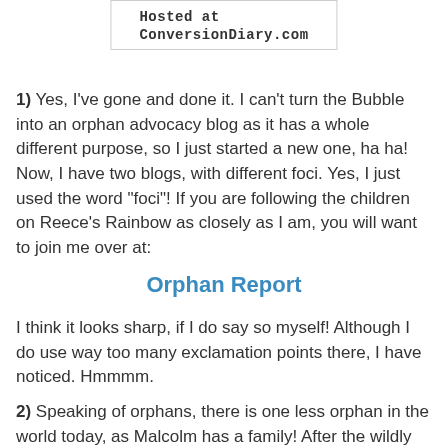Hosted at ConversionDiary.com
1) Yes, I've gone and done it. I can't turn the Bubble into an orphan advocacy blog as it has a whole different purpose, so I just started a new one, ha ha! Now, I have two blogs, with different foci. Yes, I just used the word "foci"! If you are following the children on Reece's Rainbow as closely as I am, you will want to join me over at:
Orphan Report
I think it looks sharp, if I do say so myself! Although I do use way too many exclamation points there, I have noticed. Hmmmm.
2) Speaking of orphans, there is one less orphan in the world today, as Malcolm has a family! After the wildly